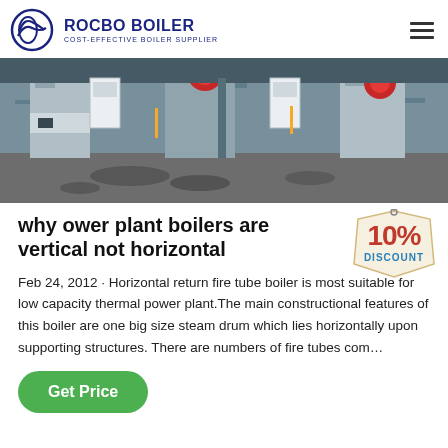ROCBO BOILER - COST-EFFECTIVE BOILER SUPPLIER
[Figure (photo): Industrial boilers in a power plant facility, showing multiple vertical boiler units with pipes and control panels on a concrete floor.]
why ower plant boilers are vertical not horizontal
[Figure (infographic): 10% DISCOUNT badge/tag graphic in red and yellow.]
Feb 24, 2012 · Horizontal return fire tube boiler is most suitable for low capacity thermal power plant.The main constructional features of this boiler are one big size steam drum which lies horizontally upon supporting structures. There are numbers of fire tubes com…
Get Price